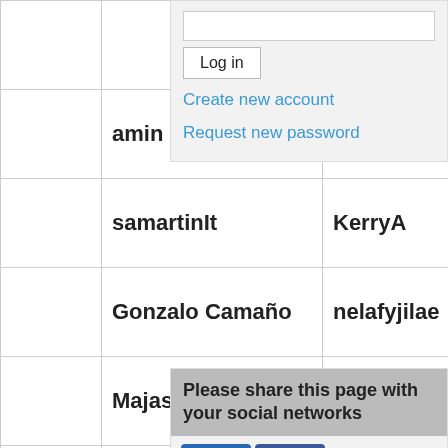|  | Username | First Name | Last Name |
| --- | --- | --- | --- |
|  | amin | ciades2004davi |  |
|  | samartinIt | KerryA | Coro |
|  | Gonzalo Camaño | nelafyjilae |  |
|  | Majas | Monica Peryz | M |
|  | sfelzer | Adrienne1 | Stac |
|  | SegunS | Paul_Nate | Sara |
|  | Tab75 | Niloc | Mo |
[Figure (screenshot): Login sidebar with username field, Log in button, Create new account link, Request new password link]
[Figure (infographic): Social share panel with LinkedIn, Facebook, Email, Twitter, Bookmarks, Add icons, share count 0, and Share button]